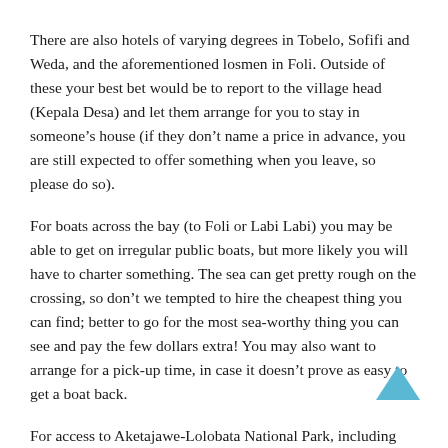There are also hotels of varying degrees in Tobelo, Sofifi and Weda, and the aforementioned losmen in Foli. Outside of these your best bet would be to report to the village head (Kepala Desa) and let them arrange for you to stay in someone's house (if they don't name a price in advance, you are still expected to offer something when you leave, so please do so).
For boats across the bay (to Foli or Labi Labi) you may be able to get on irregular public boats, but more likely you will have to charter something. The sea can get pretty rough on the crossing, so don't we tempted to hire the cheapest thing you can find; better to go for the most sea-worthy thing you can see and pay the few dollars extra! You may also want to arrange for a pick-up time, in case it doesn't prove as easy to get a boat back.
For access to Aketajawe-Lolobata National Park, including information on the villages mentioned, the best